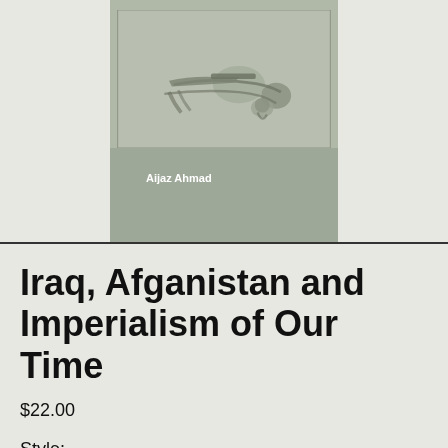[Figure (photo): Book cover of 'Iraq, Afganistan and Imperialism of Our Time' by Alijaz Ahmad, showing a grayscale illustration of figures on a muted green-gray background, with the author name in white bold text.]
Iraq, Afganistan and Imperialism of Our Time
$22.00
Style: